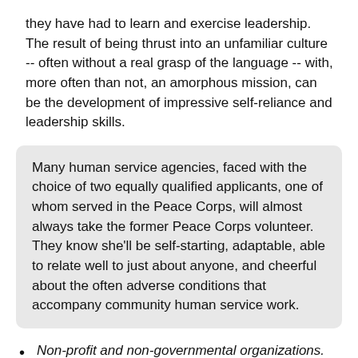they have had to learn and exercise leadership. The result of being thrust into an unfamiliar culture -- often without a real grasp of the language -- with, more often than not, an amorphous mission, can be the development of impressive self-reliance and leadership skills.
Many human service agencies, faced with the choice of two equally qualified applicants, one of whom served in the Peace Corps, will almost always take the former Peace Corps volunteer. They know she'll be self-starting, adaptable, able to relate well to just about anyone, and cheerful about the often adverse conditions that accompany community human service work.
Non-profit and non-governmental organizations. College students and other young adults form much of the support and do much of the legwork for such